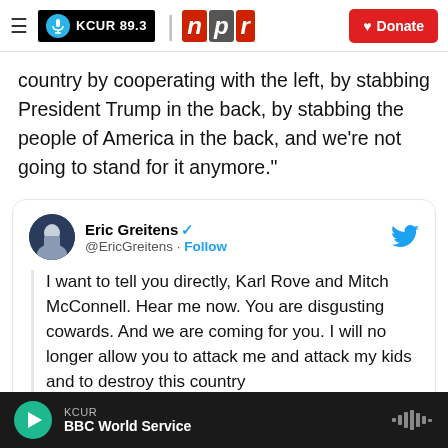[Figure (screenshot): KCUR 89.3 and NPR logos with Donate button navigation header]
country by cooperating with the left, by stabbing President Trump in the back, by stabbing the people of America in the back, and we're not going to stand for it anymore."
[Figure (screenshot): Embedded tweet from Eric Greitens (@EricGreitens): 'I want to tell you directly, Karl Rove and Mitch McConnell. Hear me now. You are disgusting cowards. And we are coming for you. I will no longer allow you to attack me and attack my kids and to destroy this country']
[Figure (screenshot): KCUR audio player bar showing 'BBC World Service' program playing]